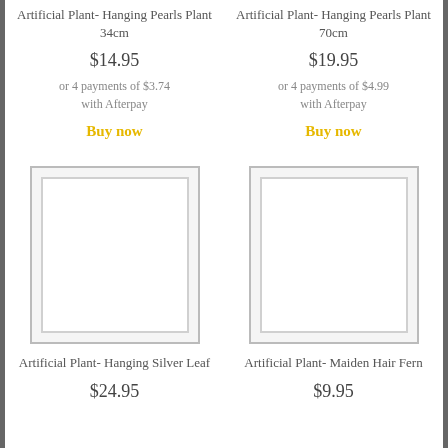Artificial Plant- Hanging Pearls Plant 34cm
$14.95
or 4 payments of $3.74 with Afterpay
Buy now
Artificial Plant- Hanging Pearls Plant 70cm
$19.95
or 4 payments of $4.99 with Afterpay
Buy now
[Figure (photo): Product image placeholder for Artificial Plant- Hanging Silver Leaf]
[Figure (photo): Product image placeholder for Artificial Plant- Maiden Hair Fern]
Artificial Plant- Hanging Silver Leaf
$24.95
Artificial Plant- Maiden Hair Fern
$9.95